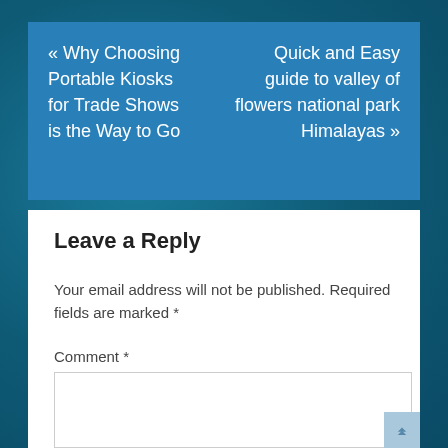« Why Choosing Portable Kiosks for Trade Shows is the Way to Go
Quick and Easy guide to valley of flowers national park Himalayas »
Leave a Reply
Your email address will not be published. Required fields are marked *
Comment *